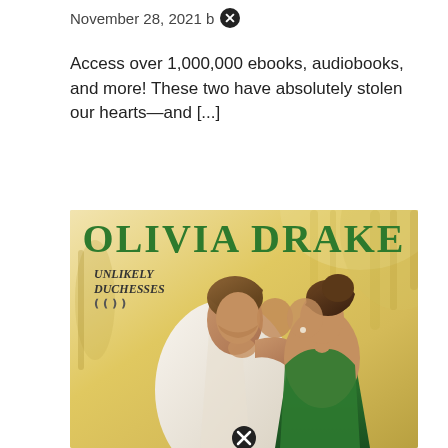November 28, 2021 b
Access over 1,000,000 ebooks, audiobooks, and more! These two have absolutely stolen our hearts—and [...]
[Figure (photo): Book cover for Olivia Drake's 'Unlikely Duchesses' series showing a romantic couple — a man in a white shirt and a woman in a green dress — leaning close together against a warm yellow/cream background. The author name 'OLIVIA DRAKE' appears in large green serif letters at the top, with 'UNLIKELY DUCHESSES' in smaller italic serif text on the left side. A black circular close/X button appears at the bottom center of the image.]